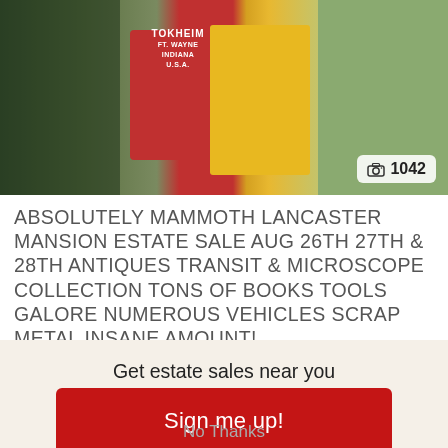[Figure (photo): Photo of estate sale items including machinery, a red Tokheim pump/sign, yellow cross sign, and other equipment outdoors. Camera icon badge showing 1042 photos.]
ABSOLUTELY MAMMOTH LANCASTER MANSION ESTATE SALE AUG 26TH 27TH & 28TH ANTIQUES TRANSIT & MICROSCOPE COLLECTION TONS OF BOOKS TOOLS GALORE NUMEROUS VEHICLES SCRAP METAL INSANE AMOUNT!
Get estate sales near you sent to your inbox.
Sign me up!
No Thanks